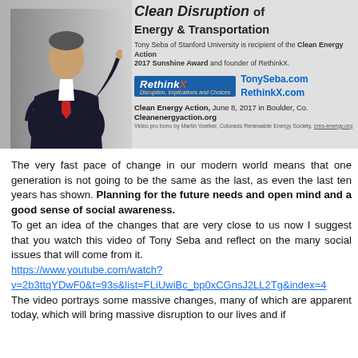[Figure (photo): Banner image for 'Clean Disruption of Energy & Transportation' presentation by Tony Seba. Shows a man in a suit with a red tie gesturing, alongside text about the event including RethinkX logo, TonySeba.com, RethinkX.com links, Clean Energy Action June 8 2017 in Boulder Co, and Cleanenergyaction.org.]
The very fast pace of change in our modern world means that one generation is not going to be the same as the last, as even the last ten years has shown. Planning for the future needs and open mind and a good sense of social awareness.
To get an idea of the changes that are very close to us now I suggest that you watch this video of Tony Seba and reflect on the many social issues that will come from it.
https://www.youtube.com/watch?v=2b3ttqYDwF0&t=93s&list=FLiUwiBc_bp0xCGnsJ2LL2Tg&index=4
The video portrays some massive changes, many of which are apparent today, which will bring massive disruption to our lives and if